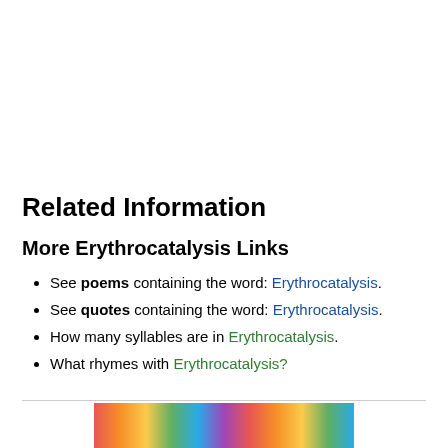Related Information
More Erythrocatalysis Links
See poems containing the word: Erythrocatalysis.
See quotes containing the word: Erythrocatalysis.
How many syllables are in Erythrocatalysis.
What rhymes with Erythrocatalysis?
[Figure (photo): Colorful floral or abstract multicolored image strip at the bottom of the page.]